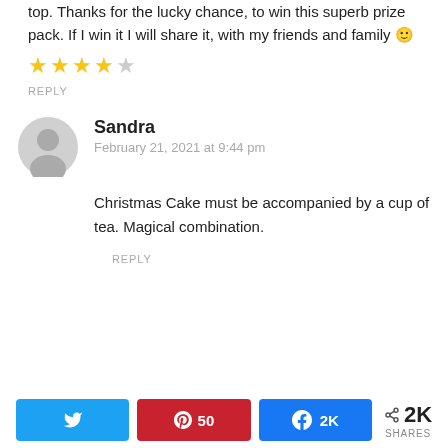top. Thanks for the lucky chance, to win this superb prize pack. If I win it I will share it, with my friends and family 🙂
[Figure (other): 4-star rating with 4 filled yellow stars and 1 empty star]
REPLY
[Figure (other): Gray circular user avatar icon for commenter Sandra]
Sandra
February 21, 2021 at 9:44 pm
Christmas Cake must be accompanied by a cup of tea. Magical combination.
REPLY
[Figure (infographic): Share bar with Twitter, Pinterest (50), Facebook (2K) buttons and 2K SHARES count]